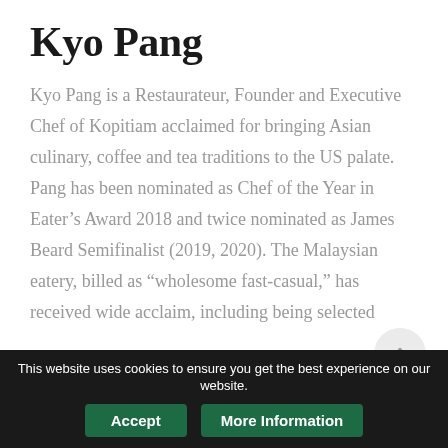Kyo Pang
Kyo Pang is a Restaurateur, Founder and Executive Chef of Kopitiam acclaimed for bringing Asian culinary, coffee and tea traditions to the US palate. Pang has been nominated as Chef of the Year in Eater’s Award 2018 and twice nominated as James Beard Semifinalist (2019, 2020). The Malaysian eatery, billed as “wholesome fast-casual,” has received wide acclaim, including being selected
This website uses cookies to ensure you get the best experience on our website.
Accept
More Information